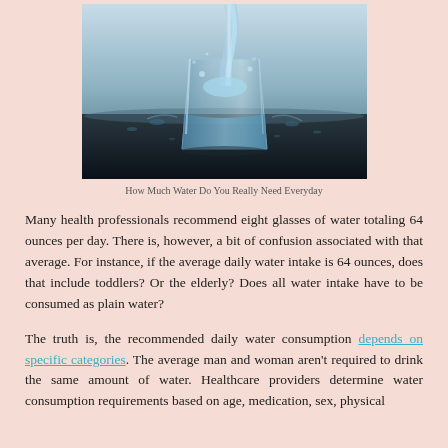[Figure (photo): A glass of water being filled with water pouring in from above, water splashing on a dark surface with droplets around it, blue-toned background.]
How Much Water Do You Really Need Everyday
Many health professionals recommend eight glasses of water totaling 64 ounces per day. There is, however, a bit of confusion associated with that average. For instance, if the average daily water intake is 64 ounces, does that include toddlers? Or the elderly? Does all water intake have to be consumed as plain water?
The truth is, the recommended daily water consumption depends on specific categories. The average man and woman aren't required to drink the same amount of water. Healthcare providers determine water consumption requirements based on age, medication, sex, physical